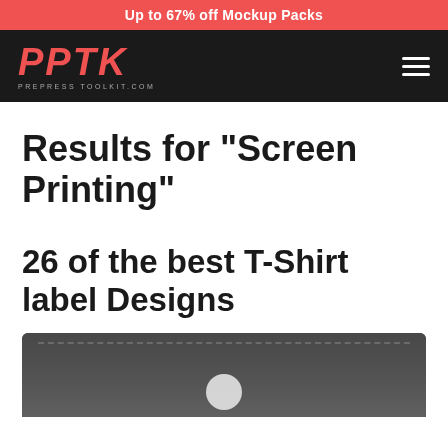Up to 67% off Mockup Packs
[Figure (logo): PPTK Prepress Toolkit logo in red italic bold text with tagline PREPRESS TOOLKIT.COM below, on dark background with hamburger menu icon on right]
Results for "Screen Printing"
26 of the best T-Shirt label Designs
[Figure (photo): Dark grey fabric t-shirt close-up showing a label area with stitching detail and a white circular logo/label element at the bottom center]